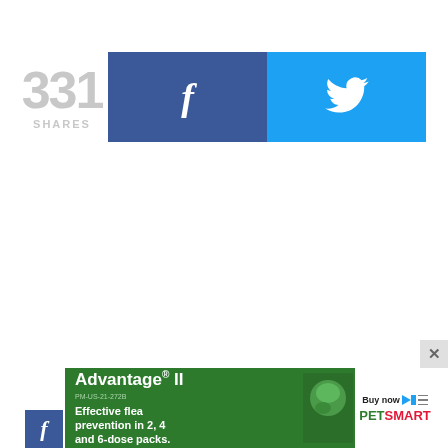331 SHARES
[Figure (infographic): Facebook share button (blue) and Twitter share button (cyan) side by side]
[Figure (infographic): Advertisement banner: Advantage II flea prevention product ad with PetSmart branding]
[Figure (infographic): Close button (X) for the ad overlay]
[Figure (infographic): Partial Facebook share button at bottom left]